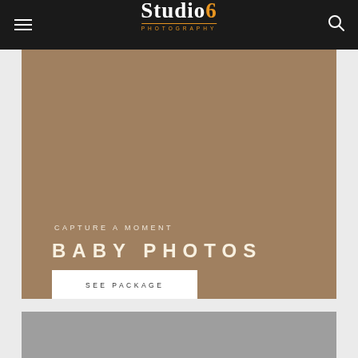Studio6 Photography — navigation header with hamburger menu and search icon
[Figure (screenshot): Large banner image with tan/brown background color (#a08060) serving as hero image placeholder]
CAPTURE A MOMENT
BABY PHOTOS
SEE PACKAGE
[Figure (photo): Gray section at bottom of page, partial view of another image/section]